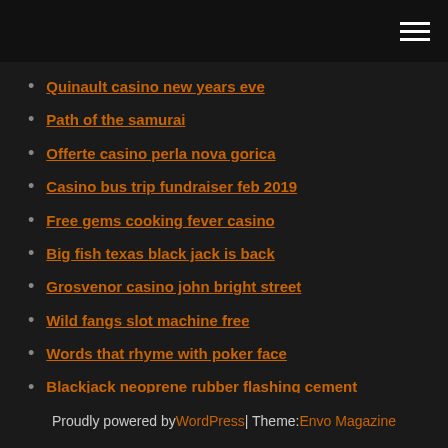Quinault casino new years eve
Path of the samurai
Offerte casino perla nova gorica
Casino bus trip fundraiser feb 2019
Free gems cooking fever casino
Big fish texas black jack is back
Grosvenor casino john bright street
Wild fangs slot machine free
Words that rhyme with poker face
Blackjack neoprene rubber flashing cement
Borgata poker open room rate
Proudly powered by WordPress | Theme: Envo Magazine